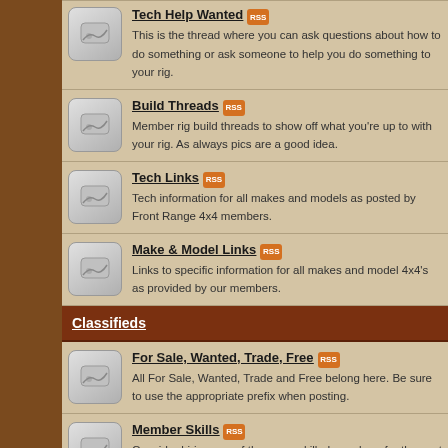Tech Help Wanted - This is the thread where you can ask questions about how to do something or ask someone to help you do something to your rig.
Build Threads - Member rig build threads to show off what you're up to with your rig. As always pics are a good idea.
Tech Links - Tech information for all makes and models as posted by Front Range 4x4 members.
Make & Model Links - Links to specific information for all makes and model 4x4's as provided by our members.
Classifieds
For Sale, Wanted, Trade, Free - All For Sale, Wanted, Trade and Free belong here. Be sure to use the appropriate prefix when posting.
Member Skills - Consider hiring one of the many skilled members for the next project you need help on. "Keep it in the club!"